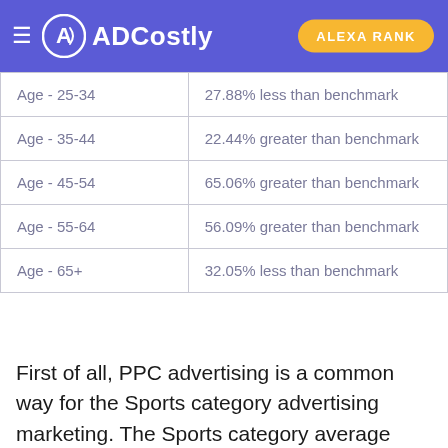ADCostly | ALEXA RANK
| Age - 25-34 | 27.88% less than benchmark |
| Age - 35-44 | 22.44% greater than benchmark |
| Age - 45-54 | 65.06% greater than benchmark |
| Age - 55-64 | 56.09% greater than benchmark |
| Age - 65+ | 32.05% less than benchmark |
First of all, PPC advertising is a common way for the Sports category advertising marketing. The Sports category average CPC is $3.12 (benchmark). From the perspective of gender, the average CPC of Male is higher, and its cost is 17.31% less than the average benchmark. The